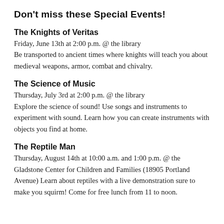Don't miss these Special Events!
The Knights of Veritas
Friday, June 13th at 2:00 p.m. @ the library
Be transported to ancient times where knights will teach you about medieval weapons, armor, combat and chivalry.
The Science of Music
Thursday, July 3rd at 2:00 p.m. @ the library
Explore the science of sound! Use songs and instruments to experiment with sound. Learn how you can create instruments with objects you find at home.
The Reptile Man
Thursday, August 14th at 10:00 a.m. and 1:00 p.m. @ the Gladstone Center for Children and Families (18905 Portland Avenue) Learn about reptiles with a live demonstration sure to make you squirm! Come for free lunch from 11 to noon.